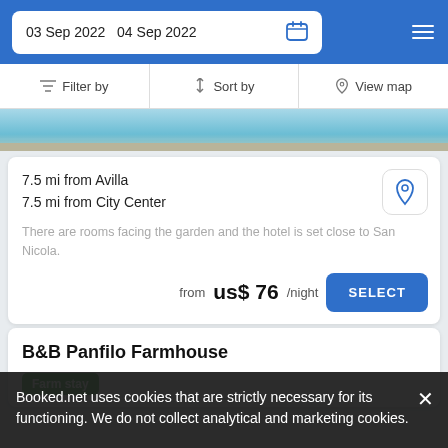03 Sep 2022   04 Sep 2022
Filter by   Sort by   View map
[Figure (photo): Swimming pool photograph showing blue water and edge, cropped strip view]
7.5 mi from Avilla
7.5 mi from City Center
There are rooms facing the garden and the hotel is set close to San Nicola.
from us$ 76/night
SELECT
B&B Panfilo Farmhouse
Farm stay
Booked.net uses cookies that are strictly necessary for its functioning. We do not collect analytical and marketing cookies.